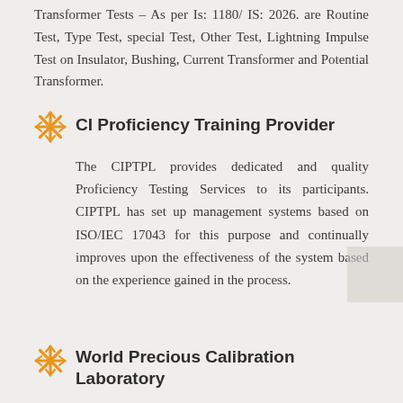Transformer Tests – As per Is: 1180/ IS: 2026. are Routine Test, Type Test, special Test, Other Test, Lightning Impulse Test on Insulator, Bushing, Current Transformer and Potential Transformer.
CI Proficiency Training Provider
The CIPTPL provides dedicated and quality Proficiency Testing Services to its participants. CIPTPL has set up management systems based on ISO/IEC 17043 for this purpose and continually improves upon the effectiveness of the system based on the experience gained in the process.
World Precious Calibration Laboratory